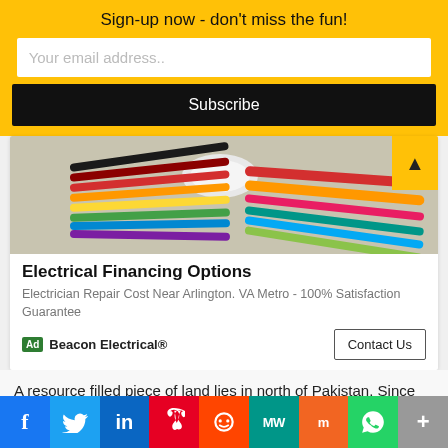Sign-up now - don't miss the fun!
Your email address..
Subscribe
[Figure (photo): Close-up photo of colorful electrical wires/cables bundled together with a white connector]
Electrical Financing Options
Electrician Repair Cost Near Arlington. VA Metro - 100% Satisfaction Guarantee
Ad   Beacon Electrical®
Contact Us
A resource filled piece of land lies in north of Pakistan. Since partition of Sub continent primary conflict in between two rivalries of in South Asia is Kashmir so
f  Twitter  in  Pinterest  Reddit  MW  Mix  WhatsApp  More